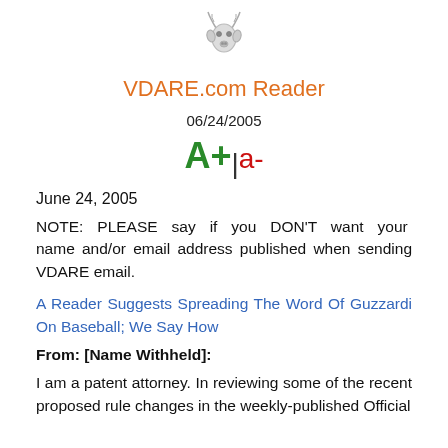[Figure (logo): VDARE.com antelope/deer logo icon in grayscale]
VDARE.com Reader
06/24/2005
[Figure (other): Font size controls: A+ | a- in green and red]
June 24, 2005
NOTE:  PLEASE  say  if  you  DON'T  want  your  name and/or email address published when sending VDARE email.
A Reader Suggests Spreading The Word Of Guzzardi On Baseball; We Say How
From: [Name Withheld]:
I am a patent attorney. In reviewing some of the recent proposed rule changes in the weekly-published Official